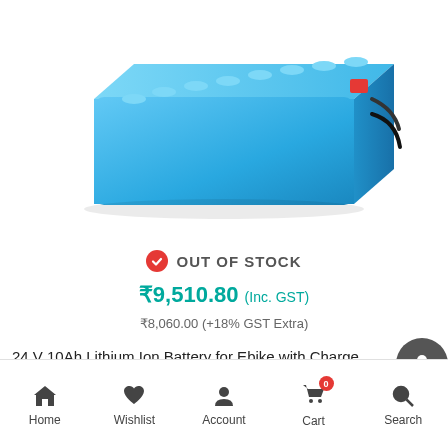[Figure (photo): Blue rectangular lithium ion battery pack with wires/connectors visible on the right side, photographed on white background]
OUT OF STOCK
₹9,510.80 (Inc. GST)
₹8,060.00 (+18% GST Extra)
24 V 10Ah Lithium Ion Battery for Ebike with Charge
Home  Wishlist  Account  Cart  Search